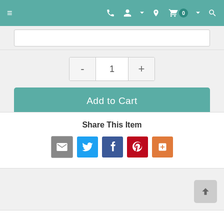[Figure (screenshot): E-commerce website navigation bar with hamburger menu, phone, account, location, cart (0), and search icons on teal background]
[Figure (screenshot): Text input box, quantity selector with minus/plus controls showing value 1, and Add to Cart button in teal]
Share This Item
[Figure (screenshot): Social sharing icons: email (grey), Twitter (blue), Facebook (blue), Pinterest (red), More (orange)]
[Figure (screenshot): Back to top button (grey arrow up) in bottom right corner]
[Figure (screenshot): Bottom white strip partially visible]